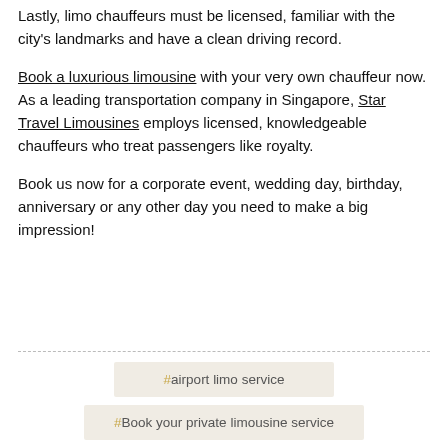Lastly, limo chauffeurs must be licensed, familiar with the city's landmarks and have a clean driving record.
Book a luxurious limousine with your very own chauffeur now. As a leading transportation company in Singapore, Star Travel Limousines employs licensed, knowledgeable chauffeurs who treat passengers like royalty.
Book us now for a corporate event, wedding day, birthday, anniversary or any other day you need to make a big impression!
#airport limo service
#Book your private limousine service